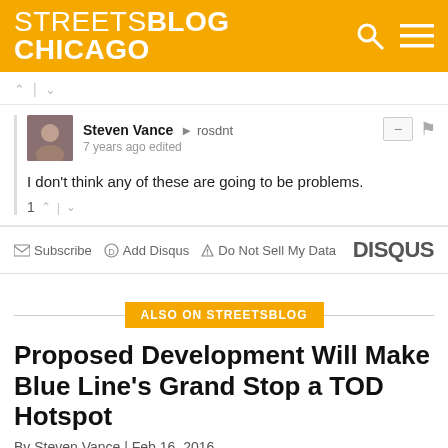STREETSBLOG CHICAGO
Steven Vance → rosdnt
7 years ago edited
I don't think any of these are going to be problems.
ALSO ON STREETSBLOG
Proposed Development Will Make Blue Line's Grand Stop a TOD Hotspot
By Steven Vance | Feb 16, 2016
Yet another developer is becoming prolific at creating mixed-used, transit-oriented developments. Mark